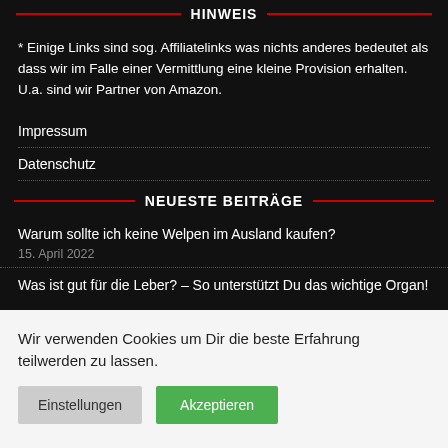HINWEIS
* Einige Links sind sog. Affiliatelinks was nichts anderes bedeutet als dass wir im Falle einer Vermittlung eine kleine Provision erhalten. U.a. sind wir Partner von Amazon.
Impressum
Datenschutz
NEUESTE BEITRÄGE
Warum sollte ich keine Welpen im Ausland kaufen?
15. April 2022
Was ist gut für die Leber? – So unterstützt Du das wichtige Organ!
Wir verwenden Cookies um Dir die beste Erfahrung teilwerden zu lassen.